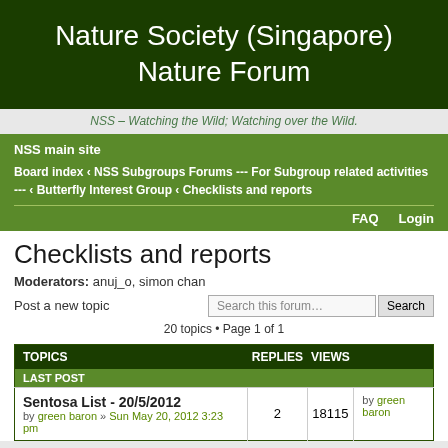Nature Society (Singapore) Nature Forum
NSS – Watching the Wild; Watching over the Wild.
NSS main site
Board index ‹ NSS Subgroups Forums --- For Subgroup related activities --- ‹ Butterfly Interest Group ‹ Checklists and reports
FAQ    Login
Checklists and reports
Moderators: anuj_o, simon chan
Post a new topic
20 topics • Page 1 of 1
| TOPICS | REPLIES | VIEWS | LAST POST |
| --- | --- | --- | --- |
| Sentosa List - 20/5/2012
by green baron » Sun May 20, 2012 3:23 pm | 2 | 18115 | by green baron |